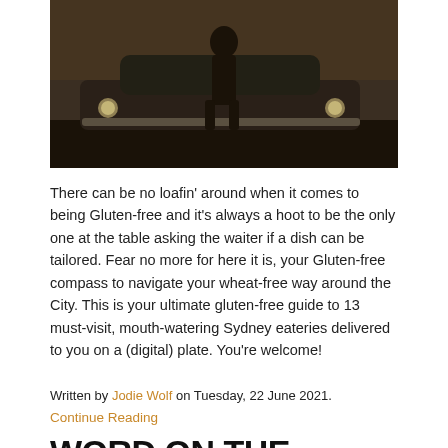[Figure (photo): A person standing in front of a vintage car, dark moody outdoor setting]
There can be no loafin’ around when it comes to being Gluten-free and it’s always a hoot to be the only one at the table asking the waiter if a dish can be tailored. Fear no more for here it is, your Gluten-free compass to navigate your wheat-free way around the City. This is your ultimate gluten-free guide to 13 must-visit, mouth-watering Sydney eateries delivered to you on a (digital) plate. You’re welcome!
Written by Jodie Wolf on Tuesday, 22 June 2021.
Continue Reading
WORD ON THE STREET #232
Bright Lights, Big Nights